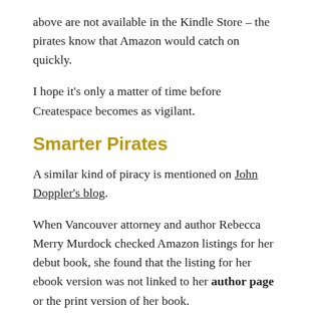above are not available in the Kindle Store – the pirates know that Amazon would catch on quickly.
I hope it's only a matter of time before Createspace becomes as vigilant.
Smarter Pirates
A similar kind of piracy is mentioned on John Doppler's blog.
When Vancouver attorney and author Rebecca Merry Murdock checked Amazon listings for her debut book, she found that the listing for her ebook version was not linked to her author page or the print version of her book.